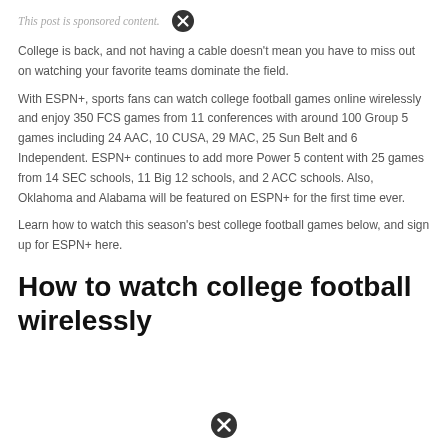This post is sponsored content.
College is back, and not having a cable doesn't mean you have to miss out on watching your favorite teams dominate the field.
With ESPN+, sports fans can watch college football games online wirelessly and enjoy 350 FCS games from 11 conferences with around 100 Group 5 games including 24 AAC, 10 CUSA, 29 MAC, 25 Sun Belt and 6 Independent. ESPN+ continues to add more Power 5 content with 25 games from 14 SEC schools, 11 Big 12 schools, and 2 ACC schools. Also, Oklahoma and Alabama will be featured on ESPN+ for the first time ever.
Learn how to watch this season's best college football games below, and sign up for ESPN+ here.
How to watch college football wirelessly